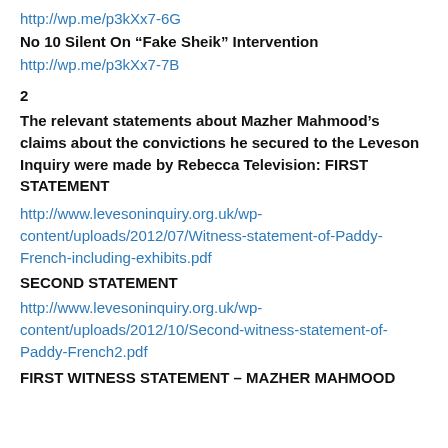http://wp.me/p3kXx7-6G
No 10 Silent On “Fake Sheik” Intervention
http://wp.me/p3kXx7-7B
2
The relevant statements about Mazher Mahmood’s claims about the convictions he secured to the Leveson Inquiry were made by Rebecca Television: FIRST STATEMENT
http://www.levesoninquiry.org.uk/wp-content/uploads/2012/07/Witness-statement-of-Paddy-French-including-exhibits.pdf
SECOND STATEMENT
http://www.levesoninquiry.org.uk/wp-content/uploads/2012/10/Second-witness-statement-of-Paddy-French2.pdf
FIRST WITNESS STATEMENT – MAZHER MAHMOOD